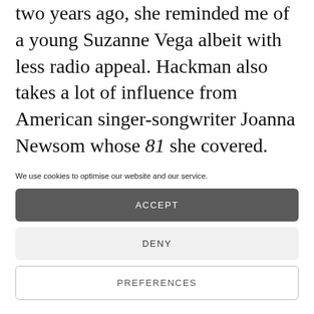two years ago, she reminded me of a young Suzanne Vega albeit with less radio appeal. Hackman also takes a lot of influence from American singer-songwriter Joanna Newsom whose 81 she covered. While the song fit in
We use cookies to optimise our website and our service.
ACCEPT
DENY
PREFERENCES